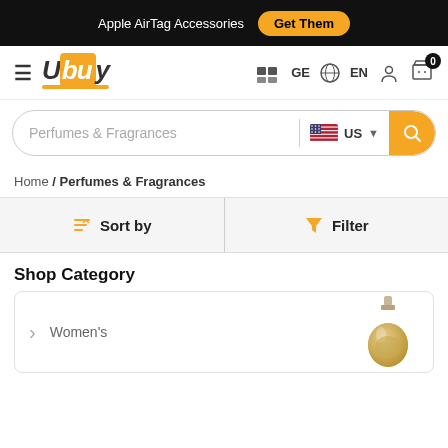Apple AirTag Accessories  Get Them
[Figure (logo): Ubuy logo - U in orange background with buy in italic]
GE  EN  user icon  cart 0
Perfumes & Fragrances  US  search button
Home / Perfumes & Fragrances
Sort by  Filter
Shop Category
Women's